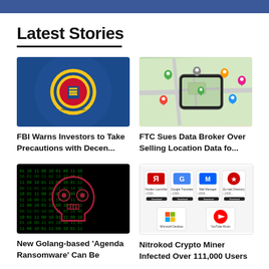Latest Stories
[Figure (photo): FBI seal/logo on blue background]
[Figure (illustration): Smartphone with map location pins]
FBI Warns Investors to Take Precautions with Decen...
FTC Sues Data Broker Over Selling Location Data fo...
[Figure (photo): Green binary code matrix with ransomware symbol]
[Figure (screenshot): Nitrokod app store screenshot with icons]
New Golang-based 'Agenda Ransomware' Can Be
Nitrokod Crypto Miner Infected Over 111,000 Users